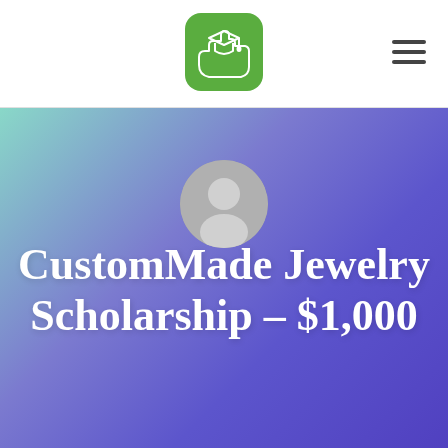[Figure (logo): Green rounded square logo with a graduation cap icon held by a hand, scholarship-related app icon]
[Figure (illustration): Hamburger menu icon (three horizontal lines) in dark gray on the right side of the header]
[Figure (illustration): Hero banner with teal-to-purple gradient background containing a gray user avatar circle]
CustomMade Jewelry Scholarship – $1,000